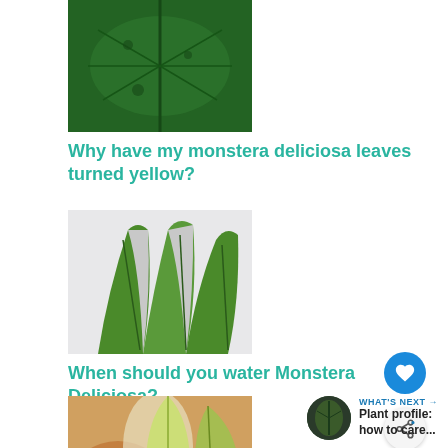[Figure (photo): Close-up photo of a monstera deliciosa leaf showing green texture and holes]
Why have my monstera deliciosa leaves turned yellow?
[Figure (photo): Close-up photo of monstera deliciosa leaf showing characteristic splits and holes against a light background]
When should you water Monstera Deliciosa?
[Figure (photo): Photo of variegated monstera or similar tropical plant with green and white/yellow leaves]
WHAT'S NEXT → Plant profile: how to care...